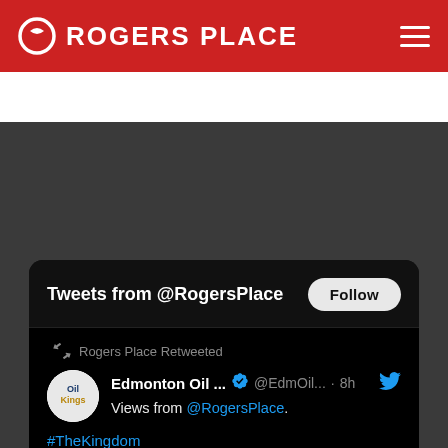ROGERS PLACE
[Figure (screenshot): Screenshot of a Twitter/X widget embed showing tweets from @RogersPlace. A retweet from Edmonton Oil Kings is shown: 'Views from @RogersPlace. #TheKingdom' with a black image box below.]